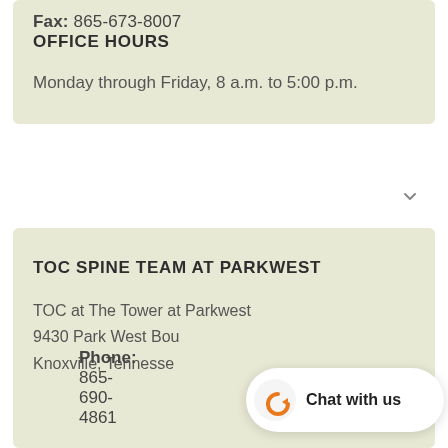Fax: 865-673-8007
OFFICE HOURS
Monday through Friday, 8 a.m. to 5:00 p.m.
TOC SPINE TEAM AT PARKWEST
TOC at The Tower at Parkwest
9430 Park West Bou...
Knoxville, Tennesse...
Phone: 865-690-4861